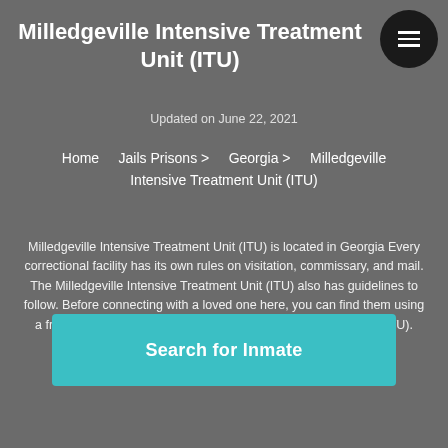Milledgeville Intensive Treatment Unit (ITU)
Updated on June 22, 2021
Home    Jails Prisons >    Georgia >    Milledgeville Intensive Treatment Unit (ITU)
Milledgeville Intensive Treatment Unit (ITU) is located in Georgia Every correctional facility has its own rules on visitation, commissary, and mail. The Milledgeville Intensive Treatment Unit (ITU) also has guidelines to follow. Before connecting with a loved one here, you can find them using a free inmate search for Milledgeville Intensive Treatment Unit (ITU). Pigeonly provides a free lookup and other inmate services.
Search for Inmate